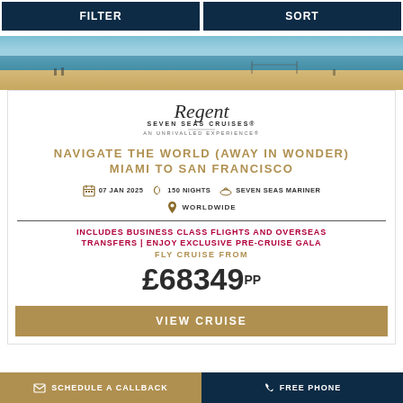FILTER   SORT
[Figure (photo): Beach scene with ocean, sandy shore and figures in background]
[Figure (logo): Regent Seven Seas Cruises logo with tagline AN UNRIVALLED EXPERIENCE]
NAVIGATE THE WORLD (AWAY IN WONDER) MIAMI TO SAN FRANCISCO
07 JAN 2025   150 NIGHTS   SEVEN SEAS MARINER
WORLDWIDE
INCLUDES BUSINESS CLASS FLIGHTS AND OVERSEAS TRANSFERS | ENJOY EXCLUSIVE PRE-CRUISE GALA FLY CRUISE FROM
£68349PP
VIEW CRUISE
SCHEDULE A CALLBACK   FREE PHONE